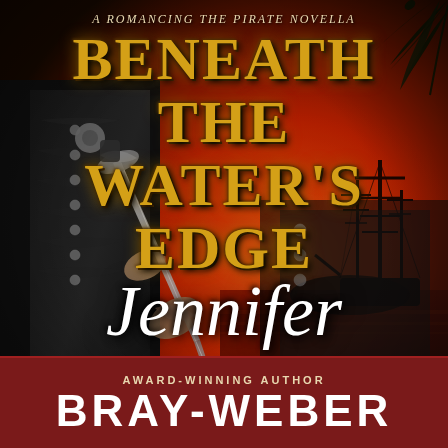[Figure (illustration): Book cover for 'Beneath the Water's Edge' — A Romancing the Pirate novella by Jennifer Bray-Weber. Background shows a dramatic red/orange sunset sky with a silhouetted tall ship. A pirate figure in ornate dark coat holds a sword in the foreground. Palm fronds visible upper right.]
A Romancing the Pirate novella
Beneath the Water's Edge
Jennifer
Award-Winning Author
Bray-Weber